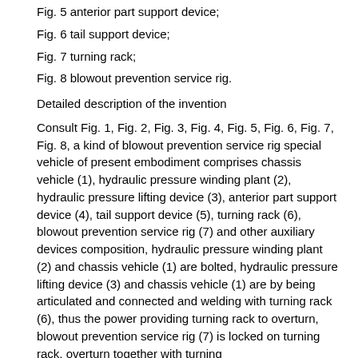Fig. 5 anterior part support device;
Fig. 6 tail support device;
Fig. 7 turning rack;
Fig. 8 blowout prevention service rig.
Detailed description of the invention
Consult Fig. 1, Fig. 2, Fig. 3, Fig. 4, Fig. 5, Fig. 6, Fig. 7, Fig. 8, a kind of blowout prevention service rig special vehicle of present embodiment comprises chassis vehicle (1), hydraulic pressure winding plant (2), hydraulic pressure lifting device (3), anterior part support device (4), tail support device (5), turning rack (6), blowout prevention service rig (7) and other auxiliary devices composition, hydraulic pressure winding plant (2) and chassis vehicle (1) are bolted, hydraulic pressure lifting device (3) and chassis vehicle (1) are by being articulated and connected and welding with turning rack (6), thus the power providing turning rack to overturn, blowout prevention service rig (7) is locked on turning rack, overturn together with turning